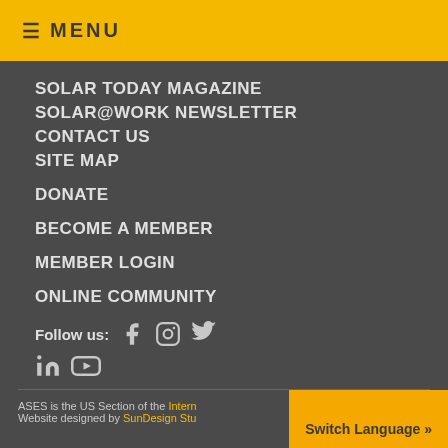≡ MENU
SOLAR TODAY MAGAZINE
SOLAR@WORK NEWSLETTER
CONTACT US
SITE MAP
DONATE
BECOME A MEMBER
MEMBER LOGIN
ONLINE COMMUNITY
Follow us: [Facebook] [Instagram] [Twitter] [LinkedIn] [YouTube]
ASES is the US Section of the International... Website designed by SunDesign Stu... Switch Language »